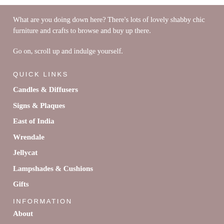What are you doing down here? There's lots of lovely shabby chic furniture and crafts to browse and buy up there.
Go on, scroll up and indulge yourself.
QUICK LINKS
Candles & Diffusers
Signs & Plaques
East of India
Wrendale
Jellycat
Lampshades & Cushions
Gifts
INFORMATION
About